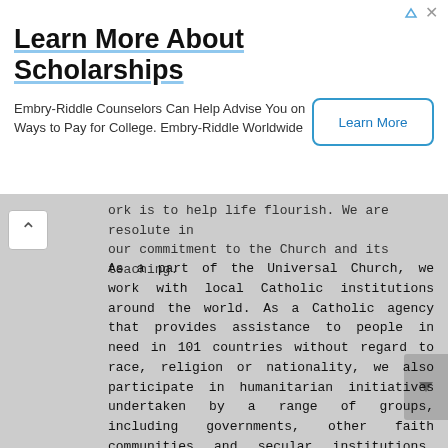[Figure (screenshot): Advertisement banner for Embry-Riddle scholarship counseling with 'Learn More' button]
ork is to help life flourish. We are resolute in our commitment to the Church and its teaching.
As a part of the Universal Church, we work with local Catholic institutions around the world. As a Catholic agency that provides assistance to people in need in 101 countries without regard to race, religion or nationality, we also participate in humanitarian initiatives undertaken by a range of groups, including governments, other faith communities and secular institutions. Although some positions and practices of these institutions are not always consistent with the full range of Catholic teaching, CRS' work with these institutions always focuses only on activities that are fully